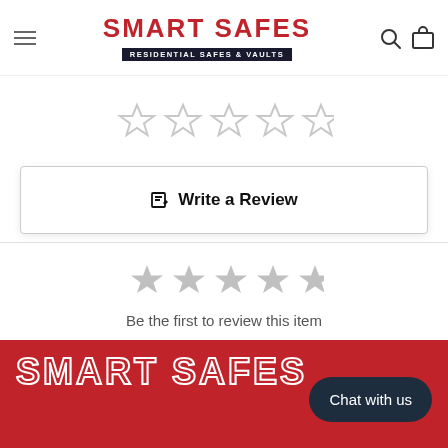SMART SAFES — RESIDENTIAL SAFES & VAULTS
[Figure (other): Five empty star rating icons (outline only, gray)]
Write a Review
[Figure (other): Five gray star rating icons (filled gray)]
Be the first to review this item
SMART SAFES
Chat with us